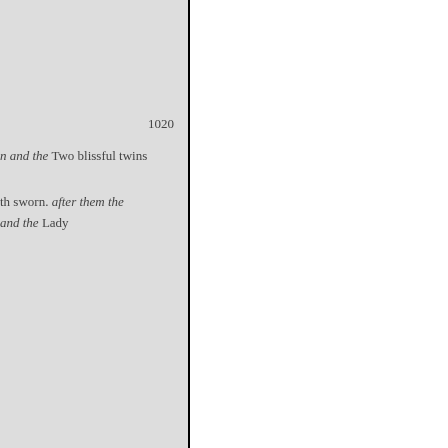1020
n and the Two blissful twins
th sworn. after them the and the Lady